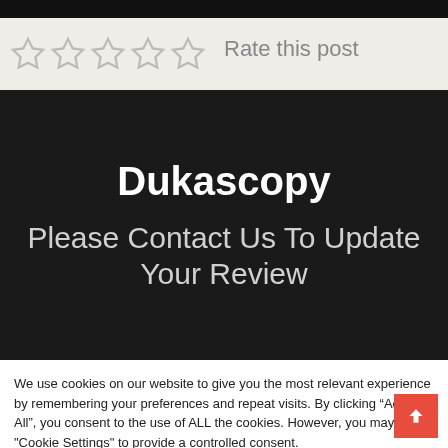[Figure (other): Five empty star rating icons followed by 'Rate this post' text]
Dukascopy
Please Contact Us To Update Your Review
We use cookies on our website to give you the most relevant experience by remembering your preferences and repeat visits. By clicking “Accept All”, you consent to the use of ALL the cookies. However, you may visit "Cookie Settings" to provide a controlled consent.